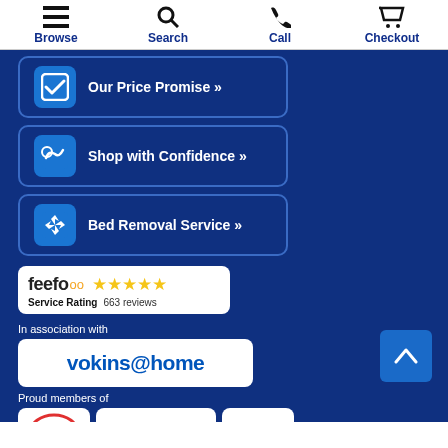Browse | Search | Call | Checkout
Our Price Promise »
Shop with Confidence »
Bed Removal Service »
[Figure (logo): Feefo Service Rating badge with 5 stars and 663 reviews]
In association with
[Figure (logo): vokins@home logo]
Proud members of
[Figure (logo): AIS, bira, and fsb Member logos]